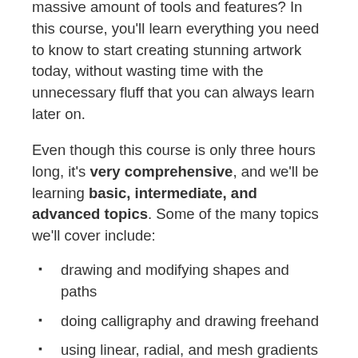and vector graphics but have you ever been intimidated by the massive amount of tools and features? In this course, you'll learn everything you need to know to start creating stunning artwork today, without wasting time with the unnecessary fluff that you can always learn later on.
Even though this course is only three hours long, it's very comprehensive, and we'll be learning basic, intermediate, and advanced topics. Some of the many topics we'll cover include:
drawing and modifying shapes and paths
doing calligraphy and drawing freehand
using linear, radial, and mesh gradients
customizing text for things like logos
exporting our drawings to use in websites, apps, games, and more